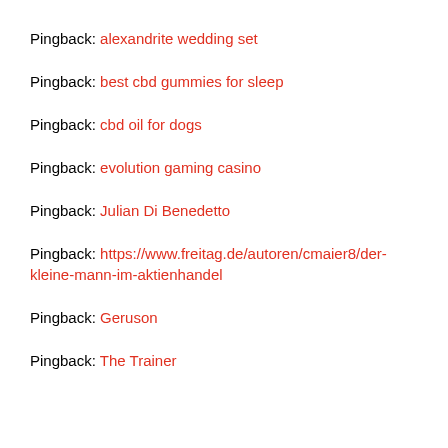Pingback: alexandrite wedding set
Pingback: best cbd gummies for sleep
Pingback: cbd oil for dogs
Pingback: evolution gaming casino
Pingback: Julian Di Benedetto
Pingback: https://www.freitag.de/autoren/cmaier8/der-kleine-mann-im-aktienhandel
Pingback: Geruson
Pingback: The Trainer